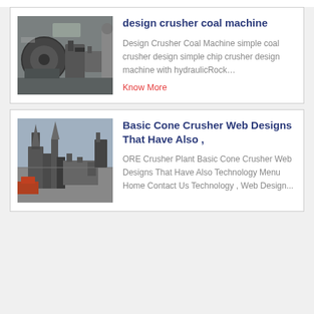[Figure (photo): Industrial coal crusher machine photographed outdoors, showing large cylindrical mechanical components]
design crusher coal machine
Design Crusher Coal Machine simple coal crusher design simple chip crusher design machine with hydraulicRock…
Know More
[Figure (photo): Industrial cone crusher plant with large mechanical structures and construction vehicles outdoors]
Basic Cone Crusher Web Designs That Have Also ,
ORE Crusher Plant Basic Cone Crusher Web Designs That Have Also Technology Menu Home Contact Us Technology , Web Design...